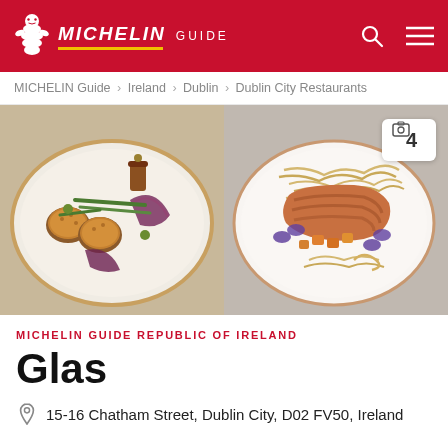MICHELIN GUIDE
MICHELIN Guide > Ireland > Dublin > Dublin City Restaurants
[Figure (photo): Two food dish photos side by side: left shows a gourmet vegetable dish with breaded items on a speckled plate, right shows a meat dish with noodles and vegetables in a white bowl. A badge showing '4' photos is overlaid on the right image.]
MICHELIN GUIDE REPUBLIC OF IRELAND
Glas
15-16 Chatham Street, Dublin City, D02 FV50, Ireland